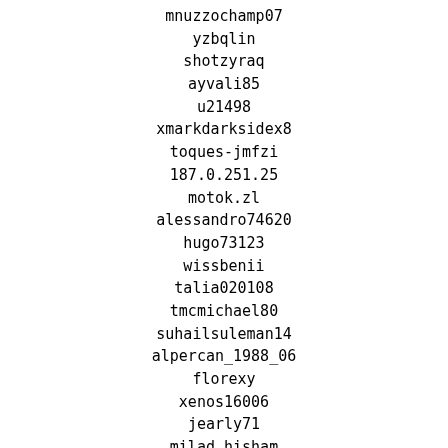mnuzzochamp07
yzbqlin
shotzyraq
ayvali85
u21498
xmarkdarksidex8
toques-jmfzi
187.0.251.25
motok.zl
alessandro74620
hugo73123
wissbenii
talia020108
tmcmichael80
suhailsuleman14
alpercan_1988_06
florexy
xenos16006
jearly71
milad.hisham
tracey43750
wmfoqn
stircuit1
vfndtq76a
malianliangmada
funkyramm
ufykg
mbytnar93
twentieth_century_boy66
gilberto84185